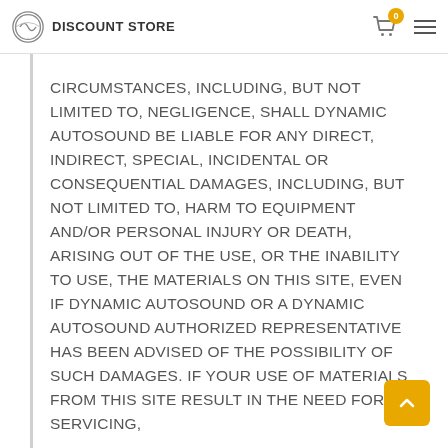DISCOUNT STORE
CIRCUMSTANCES, INCLUDING, BUT NOT LIMITED TO, NEGLIGENCE, SHALL DYNAMIC AUTOSOUND BE LIABLE FOR ANY DIRECT, INDIRECT, SPECIAL, INCIDENTAL OR CONSEQUENTIAL DAMAGES, INCLUDING, BUT NOT LIMITED TO, HARM TO EQUIPMENT AND/OR PERSONAL INJURY OR DEATH, ARISING OUT OF THE USE, OR THE INABILITY TO USE, THE MATERIALS ON THIS SITE, EVEN IF DYNAMIC AUTOSOUND OR A DYNAMIC AUTOSOUND AUTHORIZED REPRESENTATIVE HAS BEEN ADVISED OF THE POSSIBILITY OF SUCH DAMAGES. IF YOUR USE OF MATERIALS FROM THIS SITE RESULT IN THE NEED FOR SERVICING,